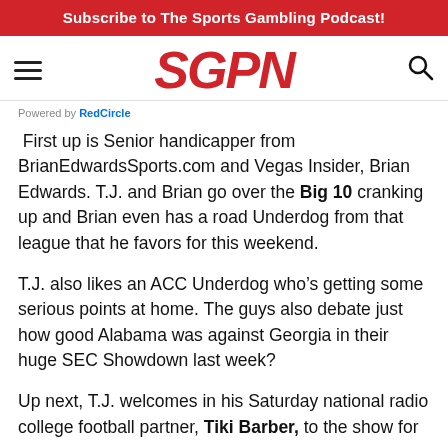Subscribe to The Sports Gambling Podcast!
[Figure (logo): SGPN logo in red italic bold font with hamburger menu icon on left and search icon on right]
Powered by RedCircle
First up is Senior handicapper from BrianEdwardsSports.com and Vegas Insider, Brian Edwards. T.J. and Brian go over the Big 10 cranking up and Brian even has a road Underdog from that league that he favors for this weekend.
T.J. also likes an ACC Underdog who’s getting some serious points at home. The guys also debate just how good Alabama was against Georgia in their huge SEC Showdown last week?
Up next, T.J. welcomes in his Saturday national radio college football partner, Tiki Barber, to the show for